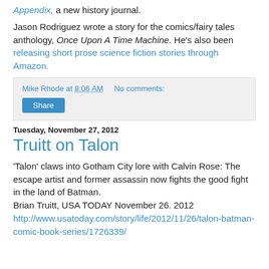Appendix, a new history journal. Jason Rodriguez wrote a story for the comics/fairy tales anthology, Once Upon A Time Machine. He's also been releasing short prose science fiction stories through Amazon.
Mike Rhode at 8:06 AM   No comments:
Share
Tuesday, November 27, 2012
Truitt on Talon
'Talon' claws into Gotham City lore with Calvin Rose: The escape artist and former assassin now fights the good fight in the land of Batman.
Brian Truitt, USA TODAY November 26. 2012
http://www.usatoday.com/story/life/2012/11/26/talon-batman-comic-book-series/1726339/